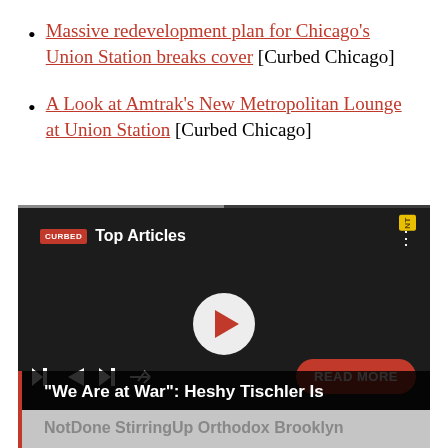Massive redevelopment plan for Chicago's Union Station breaks cover [Curbed Chicago]
A Look at Amtrak's New Metropolitan Lounge at Union Station [Curbed Chicago]
[Figure (screenshot): Embedded video player with Curbed logo and 'Top Articles' label, showing a man in a white jacket with a badge and mask-wearing person beside him; play button in center; media controls at bottom; 'READ MORE' button; headline bar reading '"We Are at War": Heshy Tischler Is' and subtitle 'NotDone StirringUp Orthodox Brooklyn']